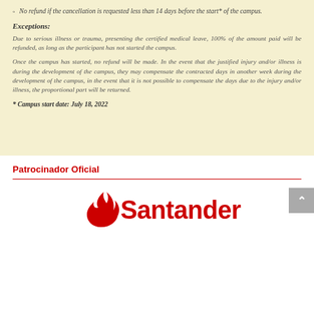No refund if the cancellation is requested less than 14 days before the start* of the campus.
Exceptions:
Due to serious illness or trauma, presenting the certified medical leave, 100% of the amount paid will be refunded, as long as the participant has not started the campus.
Once the campus has started, no refund will be made. In the event that the justified injury and/or illness is during the development of the campus, they may compensate the contracted days in another week during the development of the campus, in the event that it is not possible to compensate the days due to the injury and/or illness, the proportional part will be returned.
* Campus start date: July 18, 2022
Patrocinador Oficial
[Figure (logo): Santander bank logo with flame icon and red Santander text]